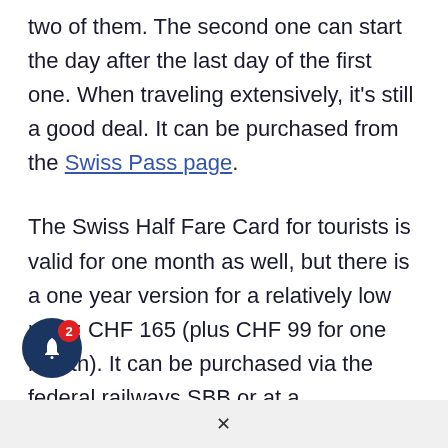two of them. The second one can start the day after the last day of the first one. When traveling extensively, it's still a good deal. It can be purchased from the Swiss Pass page.
The Swiss Half Fare Card for tourists is valid for one month as well, but there is a one year version for a relatively low price: CHF 165 (plus CHF 99 for one month). It can be purchased via the federal railways SBB or at a